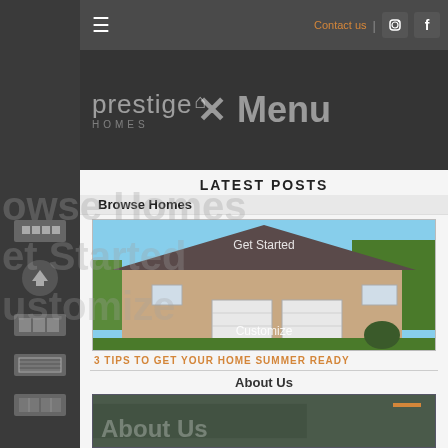Contact us | [instagram] [facebook]
[Figure (logo): Prestige Homes logo with house icon, displayed on dark gray background with 'X Menu' overlay]
LATEST POSTS
Browse Homes
[Figure (photo): Exterior photo of a single-story brick ranch house with two-car garage, green lawn, clear blue sky, autumn trees in background]
Get Started
Customize
3 TIPS TO GET YOUR HOME SUMMER READY
About Us
[Figure (photo): Partial view of a home exterior, dark green siding, with 'About Us' overlay text]